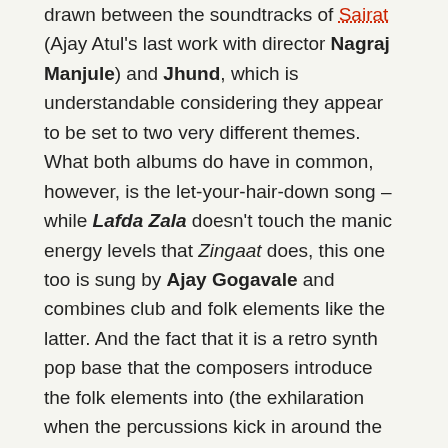drawn between the soundtracks of Sairat (Ajay Atul's last work with director Nagraj Manjule) and Jhund, which is understandable considering they appear to be set to two very different themes. What both albums do have in common, however, is the let-your-hair-down song – while Lafda Zala doesn't touch the manic energy levels that Zingaat does, this one too is sung by Ajay Gogavale and combines club and folk elements like the latter. And the fact that it is a retro synth pop base that the composers introduce the folk elements into (the exhilaration when the percussions kick in around the Lafda Zala hook!) makes it an incredibly groovy affair.
After handing Abhay Jodhpurkar his Bollywood debut in Zero, the composers introduce another singer from the South – one of the current best – Sid Sriram to the industry with Jhund, and he gets not one but two songs here! Laat Maar is the inspirational entry for the sports